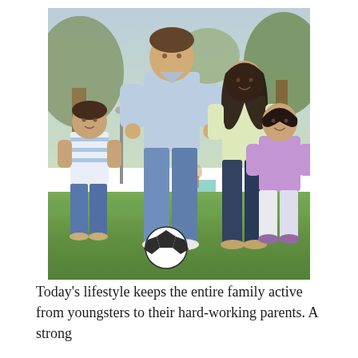[Figure (photo): A family of four playing soccer in a park. A father in a light blue shirt and jeans is kicking a soccer ball. A mother in a yellow top and dark jeans runs behind him. A young boy in a blue and white striped shirt runs on the left. A young girl in a purple shirt and white shorts runs on the right. Green grass and trees in the background.]
Today's lifestyle keeps the entire family active from youngsters to their hard-working parents. A strong